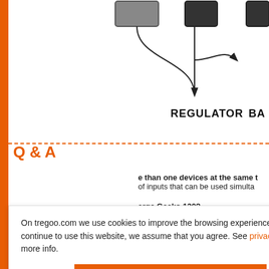[Figure (schematic): Partial schematic diagram showing components with arrows/connections. Labels visible: REGULATOR, BA (partially cut off). Boxes and curved arrows visible at top of diagram.]
Q & A
than one devices at the same t
of inputs that can be used simulta
arge Gecko 120?
three hours, connected to Hippy 8
120?
smartphones and tablets, as we
On tregoo.com we use cookies to improve the browsing experience. If you continue to use this website, we assume that you agree. See privacy policy for more info.
Ok, it's fine for me